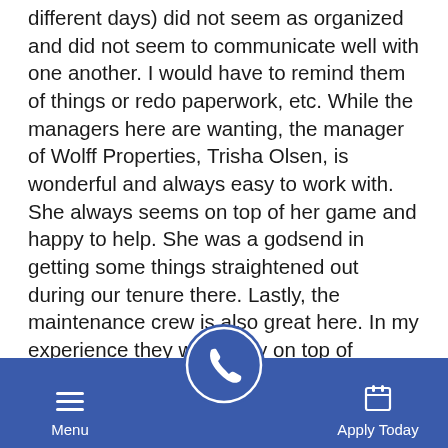different days) did not seem as organized and did not seem to communicate well with one another. I would have to remind them of things or redo paperwork, etc. While the managers here are wanting, the manager of Wolff Properties, Trisha Olsen, is wonderful and always easy to work with. She always seems on top of her game and happy to help. She was a godsend in getting some things straightened out during our tenure there. Lastly, the maintenance crew is also great here. In my experience they were very on top of requests and then they were done well and with good quality. I even had a major repair that had to be done and they were very good about getting there as soon as they could and being respectful of the space while communicating well with my wife and I. I would definitely move here again if in the area and I had a go...
Menu | [call button] | Apply Today